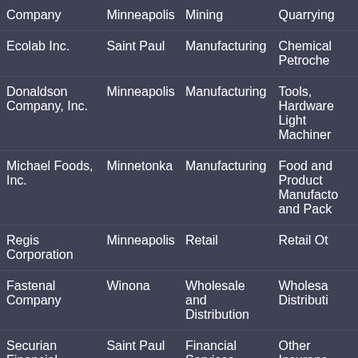| Company | City | Industry | Sub-Industry |
| --- | --- | --- | --- |
| Company | Minneapolis | Mining | Quarrying... |
| Ecolab Inc. | Saint Paul | Manufacturing | Chemical Petroche... |
| Donaldson Company, Inc. | Minneapolis | Manufacturing | Tools, Hardware Light Machiner... |
| Michael Foods, Inc. | Minnetonka | Manufacturing | Food and Product Manufacto and Pack... |
| Regis Corporation | Minneapolis | Retail | Retail Ot... |
| Fastenal Company | Winona | Wholesale and Distribution | Wholesa Distributi... |
| Securian Financial | Saint Paul | Financial Services | Other Insuranc Risk Manager... |
| UnitedHealth Group | Minnetonka | Financial Services | Insuranc Risk Manager... |